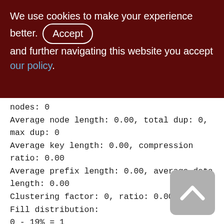We use cookies to make your experience better. By accepting and further navigating this website you accept our policy.
nodes: 0
Average node length: 0.00, total dup: 0, max dup: 0
Average key length: 0.00, compression ratio: 0.00
Average prefix length: 0.00, average data length: 0.00
Clustering factor: 0, ratio: 0.00
Fill distribution:
0 - 19% = 1
20 - 39% = 0
40 - 59% = 0
60 - 79% = 0
[Figure (other): Scroll to top button with upward chevron arrow on gray rounded rectangle background]